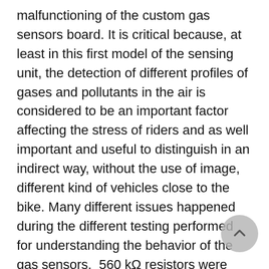malfunctioning of the custom gas sensors board. It is critical because, at least in this first model of the sensing unit, the detection of different profiles of gases and pollutants in the air is considered to be an important factor affecting the stress of riders and as well important and useful to distinguish in an indirect way, without the use of image, different kind of vehicles close to the bike. Many different issues happened during the different testing performed for understanding the behavior of the gas sensors.  560 kΩ resistors were replaced by 470 kΩ resistors, ADC's boards show memory allocation issues, higher voltage is not only better in terms of resolution of signal but as well in stability of the sensors, inconsistent sensors and amplifier flows, etc. The way of debugging and testing the devices for allowing the correct calibration has finally been done by testing one by one the custom boards.